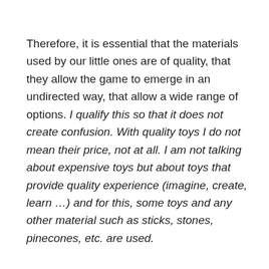Therefore, it is essential that the materials used by our little ones are of quality, that they allow the game to emerge in an undirected way, that allow a wide range of options. I qualify this so that it does not create confusion. With quality toys I do not mean their price, not at all. I am not talking about expensive toys but about toys that provide quality experience (imagine, create, learn …) and for this, some toys and any other material such as sticks, stones, pinecones, etc. are used.